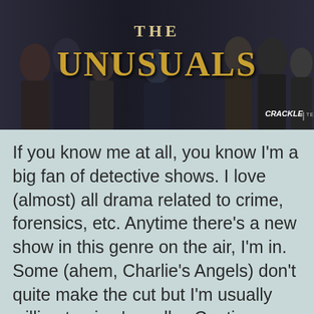[Figure (photo): Promotional photo for TV show 'The Unusuals' on Crackle Television, showing a group of people in formal/police attire with the show title overlaid in large golden text]
If you know me at all, you know I'm a big fan of detective shows. I love (almost) all drama related to crime, forensics, etc. Anytime there's a new show in this genre on the air, I'm in. Some (ahem, Charlie's Angels) don't quite make the cut but I'm usually willing to give 'em all… Continue reading
Published January 24, 2012
Categorized as WEAR